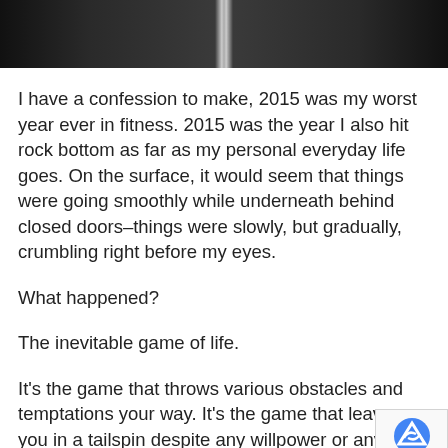[Figure (photo): Top portion of a dark/black background image, likely showing a barbell or exercise equipment]
I have a confession to make, 2015 was my worst year ever in fitness. 2015 was the year I also hit rock bottom as far as my personal everyday life goes. On the surface, it would seem that things were going smoothly while underneath behind closed doors–things were slowly, but gradually, crumbling right before my eyes.
What happened?
The inevitable game of life.
It's the game that throws various obstacles and temptations your way. It's the game that leaves you in a tailspin despite any willpower or any know